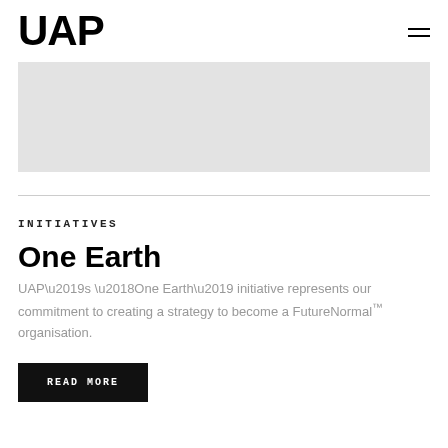UAP
[Figure (photo): Light grey image placeholder area]
INITIATIVES
One Earth
UAP’s ‘One Earth’ initiative represents our commitment to creating a strategy to become a FutureNormal™ organisation.
READ MORE